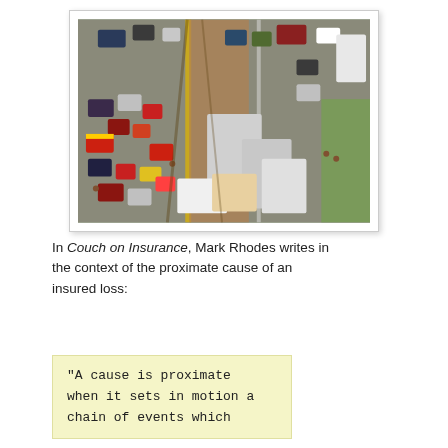[Figure (photo): Aerial photograph of a major multi-vehicle highway pileup involving numerous cars, trucks, and emergency vehicles on a multi-lane road.]
In Couch on Insurance, Mark Rhodes writes in the context of the proximate cause of an insured loss:
"A cause is proximate when it sets in motion a chain of events which